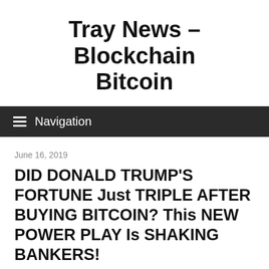Tray News – Blockchain Bitcoin
Navigation
June 16, 2019
DID DONALD TRUMP'S FORTUNE Just TRIPLE AFTER BUYING BITCOIN? This NEW POWER PLAY Is SHAKING BANKERS!